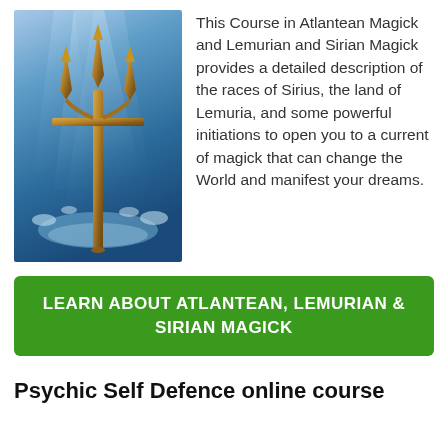[Figure (photo): A golden bronze trident standing upright in splashing blue ocean water with light rays in the background]
This Course in Atlantean Magick and Lemurian and Sirian Magick provides a detailed description of the races of Sirius, the land of Lemuria, and some powerful initiations to open you to a current of magick that can change the World and manifest your dreams.
LEARN ABOUT ATLANTEAN, LEMURIAN & SIRIAN MAGICK
Psychic Self Defence online course